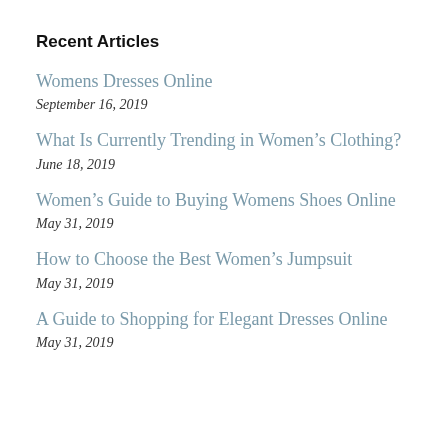Recent Articles
Womens Dresses Online
September 16, 2019
What Is Currently Trending in Women’s Clothing?
June 18, 2019
Women’s Guide to Buying Womens Shoes Online
May 31, 2019
How to Choose the Best Women’s Jumpsuit
May 31, 2019
A Guide to Shopping for Elegant Dresses Online
May 31, 2019